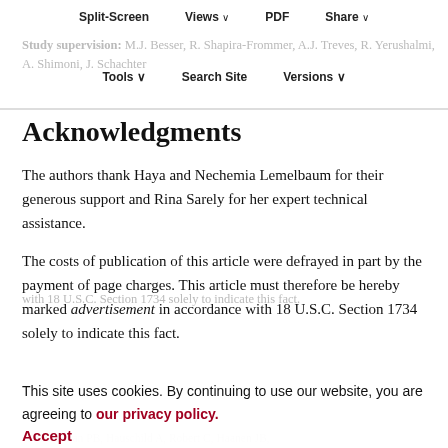Split-Screen   Views ∨   PDF   Share ∨
Study supervision: M.J. Besser, R. Shapira-Frommer, A.J. Treves, R. Yerushalmi, A. Shimoni, J. Schachter
Tools ∨   Search Site   Versions ∨
Acknowledgments
The authors thank Haya and Nechemia Lemelbaum for their generous support and Rina Sarely for her expert technical assistance.
The costs of publication of this article were defrayed in part by the payment of page charges. This article must therefore be hereby marked advertisement in accordance with 18 U.S.C. Section 1734 solely to indicate this fact.
This site uses cookies. By continuing to use our website, you are agreeing to our privacy policy.
Accept
1.   Chapman PB, Hauschild A, Robert C, Haanen JB,